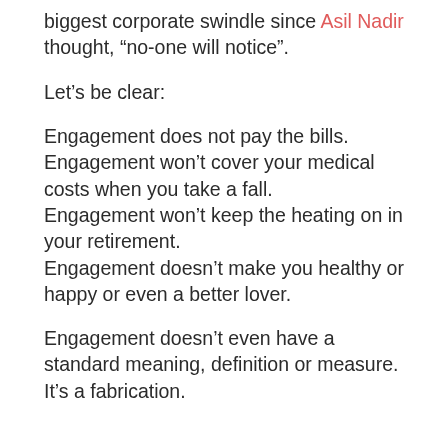biggest corporate swindle since Asil Nadir thought, “no-one will notice”.
Let’s be clear:
Engagement does not pay the bills. Engagement won’t cover your medical costs when you take a fall. Engagement won’t keep the heating on in your retirement. Engagement doesn’t make you healthy or happy or even a better lover.
Engagement doesn’t even have a standard meaning, definition or measure. It’s a fabrication.